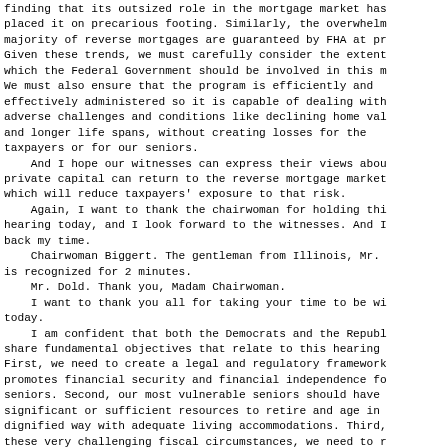finding that its outsized role in the mortgage market has placed it on precarious footing. Similarly, the overwhelming majority of reverse mortgages are guaranteed by FHA at present. Given these trends, we must carefully consider the extent to which the Federal Government should be involved in this market. We must also ensure that the program is efficiently and effectively administered so it is capable of dealing with adverse challenges and conditions like declining home values and longer life spans, without creating losses for the taxpayers or for our seniors.
    And I hope our witnesses can express their views about how private capital can return to the reverse mortgage market, which will reduce taxpayers' exposure to that risk.
    Again, I want to thank the chairwoman for holding this hearing today, and I look forward to the witnesses. And I yield back my time.
    Chairwoman Biggert. The gentleman from Illinois, Mr. Dold, is recognized for 2 minutes.
    Mr. Dold. Thank you, Madam Chairwoman.
    I want to thank you all for taking your time to be with us today.
    I am confident that both the Democrats and the Republicans share fundamental objectives that relate to this hearing. First, we need to create a legal and regulatory framework that promotes financial security and financial independence for our seniors. Second, our most vulnerable seniors should have significant or sufficient resources to retire and age in a dignified way with adequate living accommodations. Third, given these very challenging fiscal circumstances, we need to reduce government spending and diminish taxpayer risk wherever